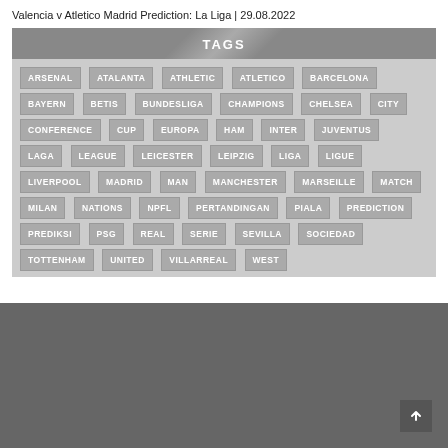Valencia v Atletico Madrid Prediction: La Liga | 29.08.2022
TAGS
ARSENAL
ATALANTA
ATHLETIC
ATLETICO
BARCELONA
BAYERN
BETIS
BUNDESLIGA
CHAMPIONS
CHELSEA
CITY
CONFERENCE
CUP
EUROPA
HAM
INTER
JUVENTUS
LAGA
LEAGUE
LEICESTER
LEIPZIG
LIGA
LIGUE
LIVERPOOL
MADRID
MAN
MANCHESTER
MARSEILLE
MATCH
MILAN
NATIONS
NPFL
PERTANDINGAN
PIALA
PREDICTION
PREDIKSI
PSG
REAL
SERIE
SEVILLA
SOCIEDAD
TOTTENHAM
UNITED
VILLARREAL
WEST